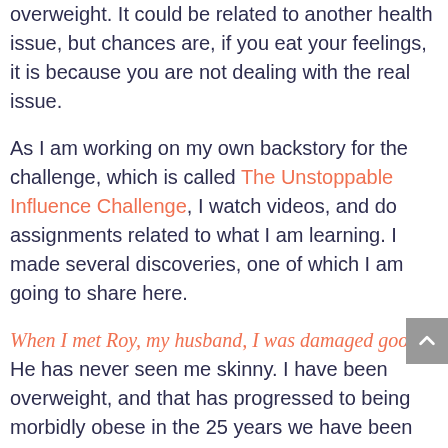overweight. It could be related to another health issue, but chances are, if you eat your feelings, it is because you are not dealing with the real issue.
As I am working on my own backstory for the challenge, which is called The Unstoppable Influence Challenge, I watch videos, and do assignments related to what I am learning. I made several discoveries, one of which I am going to share here.
When I met Roy, my husband, I was damaged goods. He has never seen me skinny. I have been overweight, and that has progressed to being morbidly obese in the 25 years we have been